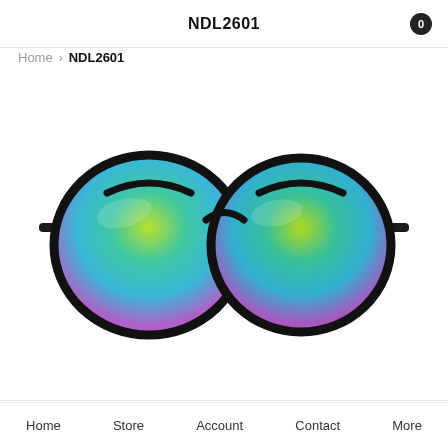NDL2601
Home  NDL2601
[Figure (photo): Front-facing product photo of round sunglasses with black metal frames and rainbow/iridescent mirrored lenses showing green-to-purple gradient]
Home  Store  Account  Contact  More